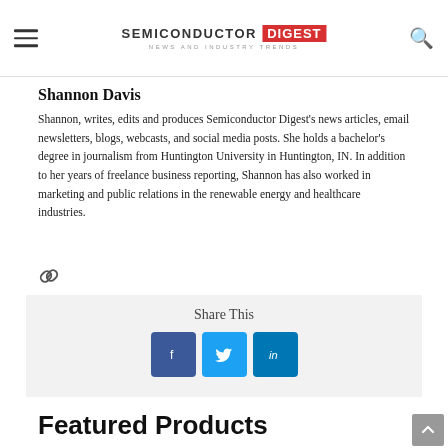SEMICONDUCTOR DIGEST — NEWS AND INDUSTRY TRENDS
Shannon Davis
Shannon, writes, edits and produces Semiconductor Digest's news articles, email newsletters, blogs, webcasts, and social media posts. She holds a bachelor's degree in journalism from Huntington University in Huntington, IN. In addition to her years of freelance business reporting, Shannon has also worked in marketing and public relations in the renewable energy and healthcare industries.
[Figure (other): Link/chain icon symbol]
[Figure (other): Share This section with Facebook, Twitter, and LinkedIn buttons on grey background]
Featured Products